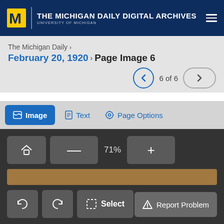THE MICHIGAN DAILY DIGITAL ARCHIVES – UNIVERSITY OF MICHIGAN
The Michigan Daily ›
February 20, 1920 › Page Image 6
6 of 6
Image   Text   Page Options
71%
Select
Report Problem